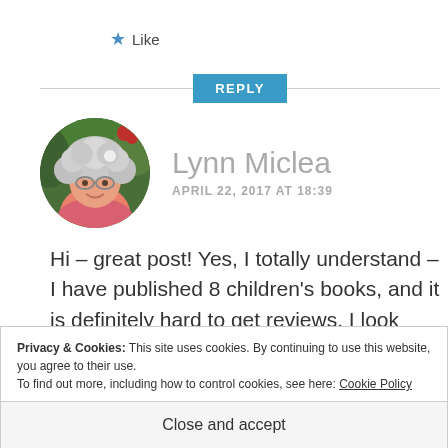★ Like
REPLY
Lynn Miclea
APRIL 22, 2017 AT 18:39
[Figure (photo): Circular avatar photo of Lynn Miclea, a woman with curly grey hair and glasses, wearing a pink top, with green foliage in the background.]
Hi – great post! Yes, I totally understand – I have published 8 children's books, and it is definitely hard to get reviews. I look forward to
Privacy & Cookies: This site uses cookies. By continuing to use this website, you agree to their use.
To find out more, including how to control cookies, see here: Cookie Policy
Close and accept